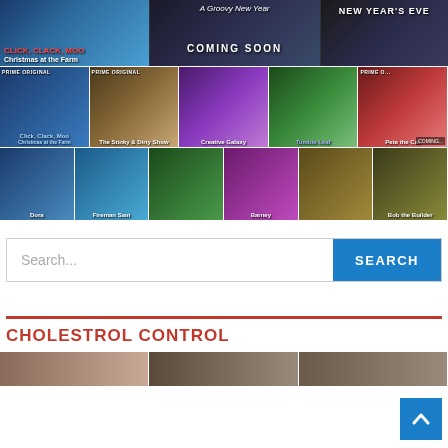[Figure (screenshot): Children's TV show banner row with Click Clack Moo Christmas at the Farm, A Groovy New Year Coming Soon, and New Year's Eve banners]
[Figure (screenshot): Grid of children's show thumbnails including Click Clack Moo, The Stinky & Dirty Show, Creative Galaxy, Tumble Leaf, Pete the Cat]
[Figure (screenshot): Second row of children's show thumbnails including Dora, Fireman Sam, and others]
Search...
SEARCH
CHOLESTROL CONTROL
[Figure (screenshot): Bottom image strip showing partial faces/thumbnails]